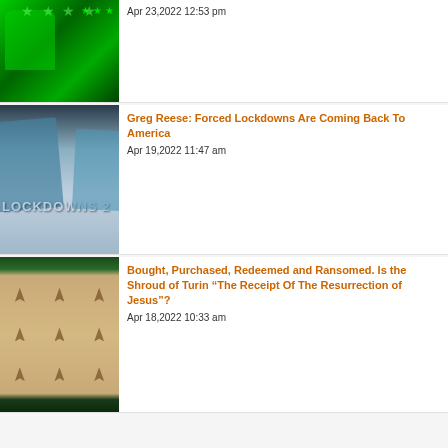[Figure (photo): Green tinted photo of two people against American flag background]
Apr 23,2022 12:53 pm
[Figure (photo): Medical gloves holding syringe with LOCKDOWNS 2 text overlay]
Greg Reese: Forced Lockdowns Are Coming Back To America
Apr 19,2022 11:47 am
[Figure (photo): Shroud of Turin image showing burial cloth with burn marks]
Bought, Purchased, Redeemed and Ransomed. Is the Shroud of Turin “The Receipt Of The Resurrection of Jesus”?
Apr 18,2022 10:33 am